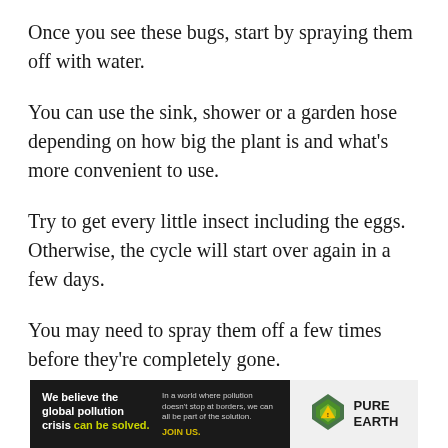Once you see these bugs, start by spraying them off with water.
You can use the sink, shower or a garden hose depending on how big the plant is and what’s more convenient to use.
Try to get every little insect including the eggs. Otherwise, the cycle will start over again in a few days.
You may need to spray them off a few times before they’re completely gone.
[Figure (other): Advertisement banner for Pure Earth: black left panel with bold white text 'We believe the global pollution crisis can be solved.' with green highlight on 'can be solved.' and body text 'In a world where pollution doesn’t stop at borders, we can all be part of the solution. JOIN US.' Right panel shows Pure Earth logo (diamond/chevron icon) with organization name.]